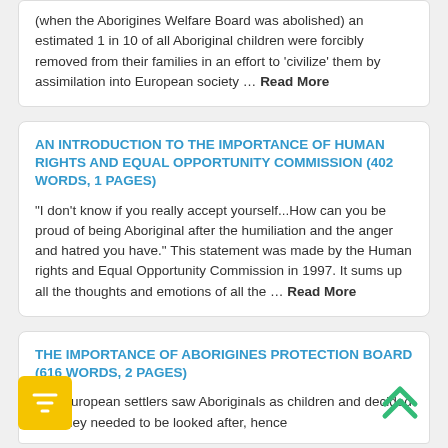(when the Aborigines Welfare Board was abolished) an estimated 1 in 10 of all Aboriginal children were forcibly removed from their families in an effort to 'civilize' them by assimilation into European society … Read More
AN INTRODUCTION TO THE IMPORTANCE OF HUMAN RIGHTS AND EQUAL OPPORTUNITY COMMISSION (402 WORDS, 1 PAGES)
"I don't know if you really accept yourself...How can you be proud of being Aboriginal after the humiliation and the anger and hatred you have." This statement was made by the Human rights and Equal Opportunity Commission in 1997. It sums up all the thoughts and emotions of all the ... Read More
THE IMPORTANCE OF ABORIGINES PROTECTION BOARD (616 WORDS, 2 PAGES)
The European settlers saw Aboriginals as children and decided that they needed to be looked after, hence